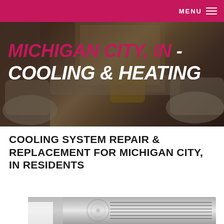MENU
MICHIGAN CITY, IN - COOLING & HEATING
COOLING SYSTEM REPAIR & REPLACEMENT FOR MICHIGAN CITY, IN RESIDENTS
[Figure (photo): Close-up of an air conditioning unit exterior, showing the top fan grill]